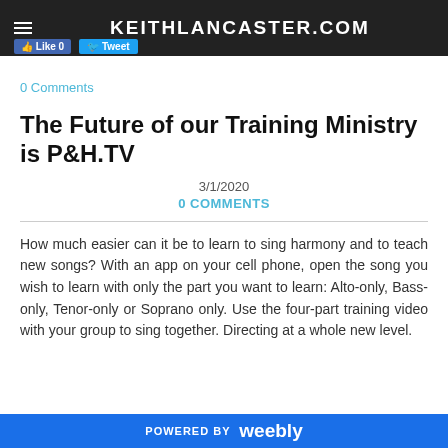KEITHLANCASTER.COM
0 Comments
The Future of our Training Ministry is P&H.TV
3/1/2020
0 COMMENTS
How much easier can it be to learn to sing harmony and to teach new songs? With an app on your cell phone, open the song you wish to learn with only the part you want to learn: Alto-only, Bass-only, Tenor-only or Soprano only. Use the four-part training video with your group to sing together. Directing at a whole new level.
POWERED BY weebly